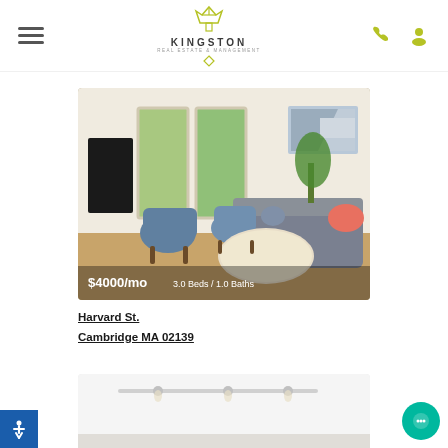Kingston Real Estate & Management — navigation header with hamburger menu, logo, phone and user icons
[Figure (photo): Interior living room photo showing blue chairs, grey sofa with coral pillows, round coffee table, bay windows with greenery, and an abstract artwork on wall. Price overlay reads $4000/mo 3.0 Beds / 1.0 Baths]
$4000/mo 3.0 Beds / 1.0 Baths
Harvard St.
Cambridge MA 02139
[Figure (photo): Interior photo of a room with white walls, track lighting on ceiling, partially visible at bottom of page]